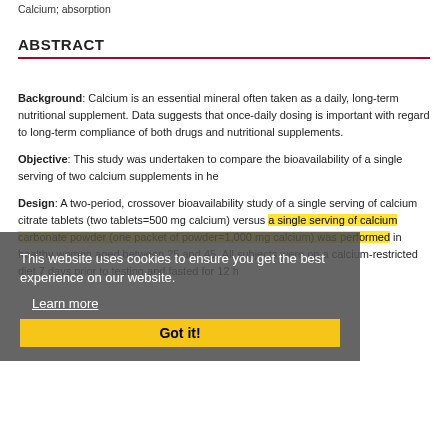Calcium; absorption
ABSTRACT
Background: Calcium is an essential mineral often taken as a daily, long-term nutritional supplement. Data suggests that once-daily dosing is important with regard to long-term compliance of both drugs and nutritional supplements.
Objective: This study was undertaken to compare the bioavailability of a single serving of two calcium supplements in he...
Design: A two-period, crossover bioavailability study of a single serving of calcium citrate tablets (two tablets=500 mg calcium) versus a single serving of calcium carbonate powder (one packet of powder=1,000 mg calcium) was performed in healthy women aged between 25 and 45. All subjects were on a calcium-restricted diet 7 days prior to testing and fasted for 12 h...
This website uses cookies to ensure you get the best experience on our website.
Learn more
Got it!